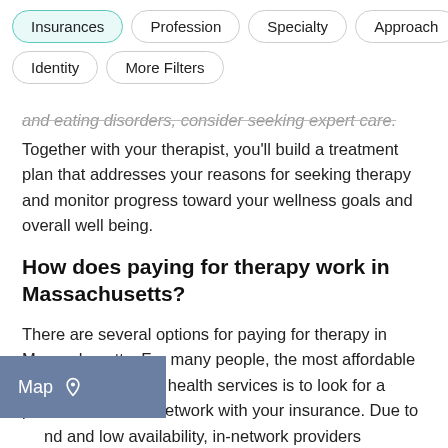Insurances | Profession | Specialty | Approach | Identity | More Filters
and eating disorders, consider seeking expert care. Together with your therapist, you'll build a treatment plan that addresses your reasons for seeking therapy and monitor progress toward your wellness goals and overall well being.
How does paying for therapy work in Massachusetts?
There are several options for paying for therapy in Massachusetts. For many people, the most affordable way to seek mental health services is to look for a provider who is in-network with your insurance. Due to nd and low availability, in-network providers long waitlists; to widen your options and start therapy sooner, you might also consider looking for an
[Figure (other): Map button overlay in the bottom-left corner with location pin icon]